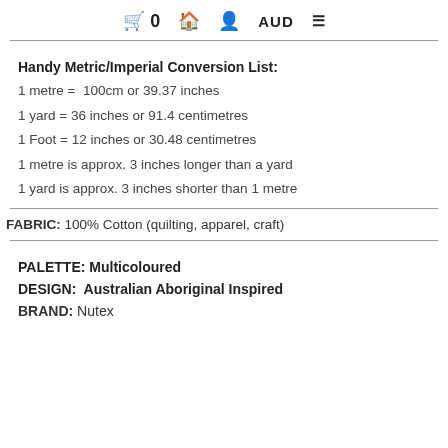🛒 0  🏠  👤  AUD  ☰
Handy Metric/Imperial Conversion List:
1 metre =  100cm or 39.37 inches
1 yard = 36 inches or 91.4 centimetres
1 Foot = 12 inches or 30.48 centimetres
1 metre is approx. 3 inches longer than a yard
1 yard is approx. 3 inches shorter than 1 metre
FABRIC: 100% Cotton (quilting, apparel, craft)
PALETTE: Multicoloured
DESIGN:  Australian Aboriginal Inspired
BRAND: Nutex